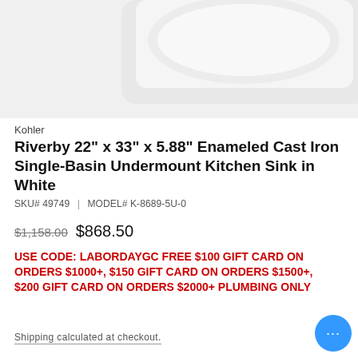[Figure (photo): Product photo of a white enameled cast iron kitchen sink (Kohler Riverby) on a light gray background, showing the top portion of the sink bowl.]
Kohler
Riverby 22" x 33" x 5.88" Enameled Cast Iron Single-Basin Undermount Kitchen Sink in White
SKU# 49749 | MODEL# K-8689-5U-0
$1,158.00  $868.50
USE CODE: LABORDAYGC FREE $100 GIFT CARD ON ORDERS $1000+, $150 GIFT CARD ON ORDERS $1500+, $200 GIFT CARD ON ORDERS $2000+ PLUMBING ONLY
Shipping calculated at checkout.